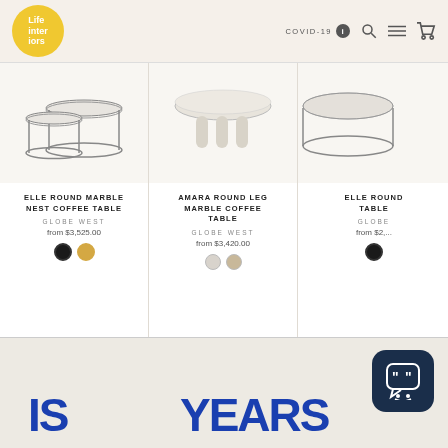Life Interiors | COVID-19 navigation header
[Figure (screenshot): Elle Round Marble Nest Coffee Table product image - two nesting round tables with metal wire frames and marble tops]
ELLE ROUND MARBLE NEST COFFEE TABLE
GLOBE WEST
from $3,525.00
[Figure (screenshot): Amara Round Leg Marble Coffee Table product image - oval marble top with cylindrical marble legs]
AMARA ROUND LEG MARBLE COFFEE TABLE
GLOBE WEST
from $3,420.00
[Figure (screenshot): Elle Round [partial] table product image - partial view of round metal frame table]
ELLE ROUN...
TAB...
GLOBE...
from $2,...
[Figure (screenshot): Bottom section showing large blue text reading IS and YEARS, partially visible, with a chat widget icon in the bottom right corner]